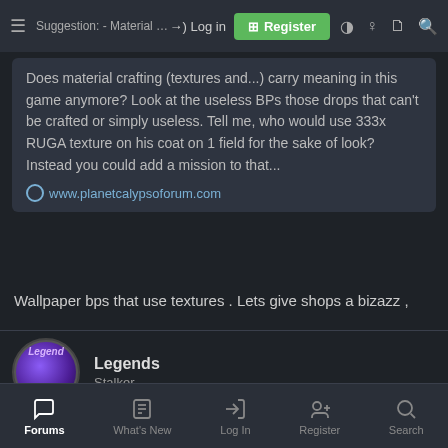Suggestion: - Material Crafting | Log in | Register
Does material crafting (textures and...) carry meaning in this game anymore? Look at the useless BPs those drops that can't be crafted or simply useless. Tell me, who would use 333x RUGA texture on his coat on 1 field for the sake of look? Instead you could add a mission to that...
www.planetcalypsoforum.com
Wallpaper bps that use textures . Lets give shops a bizazz ,
Legends
Stalker
Jan 16, 2022
#11
Legends said:
Forums | What's New | Log In | Register | Search